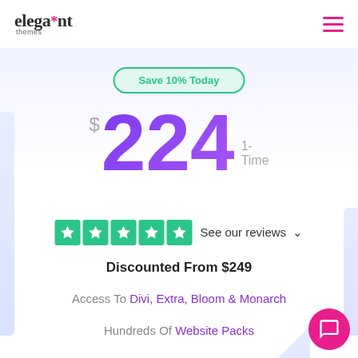[Figure (logo): Elegant Themes logo with pink asterisk star and text]
Save 10% Today
$224 1-Time
[Figure (other): Trustpilot five green star rating boxes followed by 'See our reviews' with chevron]
Discounted From $249
Access To Divi, Extra, Bloom & Monarch
Hundreds Of Website Packs
Lifetime Updates